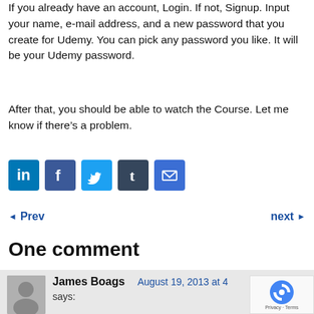If you already have an account, Login. If not, Signup. Input your name, e-mail address, and a new password that you create for Udemy. You can pick any password you like. It will be your Udemy password.
After that, you should be able to watch the Course. Let me know if there's a problem.
[Figure (infographic): Social sharing buttons: LinkedIn, Facebook, Twitter, Tumblr, Email]
◄ Prev    next ►
One comment
James Boags   August 19, 2013 at ...   says: